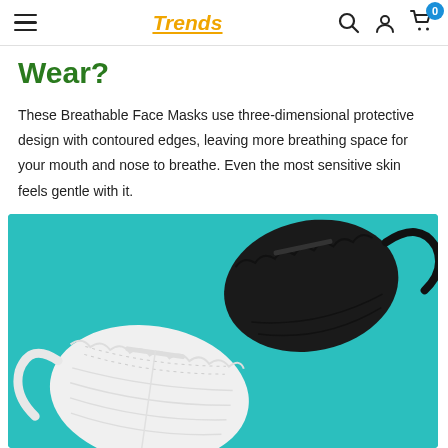Trends
Wear?
These Breathable Face Masks use three-dimensional protective design with contoured edges, leaving more breathing space for your mouth and nose to breathe. Even the most sensitive skin feels gentle with it.
[Figure (photo): Product photo of two KF94-style face masks — one black and one white — displayed on a teal/turquoise background.]